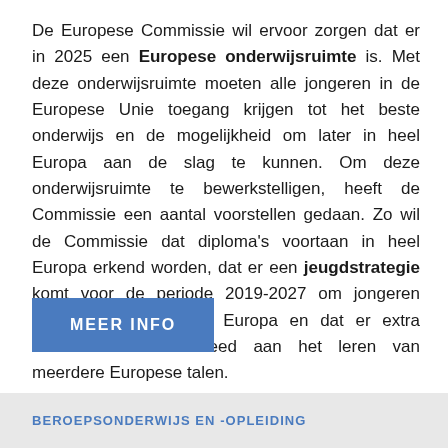De Europese Commissie wil ervoor zorgen dat er in 2025 een Europese onderwijsruimte is. Met deze onderwijsruimte moeten alle jongeren in de Europese Unie toegang krijgen tot het beste onderwijs en de mogelijkheid om later in heel Europa aan de slag te kunnen. Om deze onderwijsruimte te bewerkstelligen, heeft de Commissie een aantal voorstellen gedaan. Zo wil de Commissie dat diploma's voortaan in heel Europa erkend worden, dat er een jeugdstrategie komt voor de periode 2019-2027 om jongeren meer te betrekken bij Europa en dat er extra aandacht wordt besteed aan het leren van meerdere Europese talen.
MEER INFO
BEROEPSONDERWIJS EN -OPLEIDING